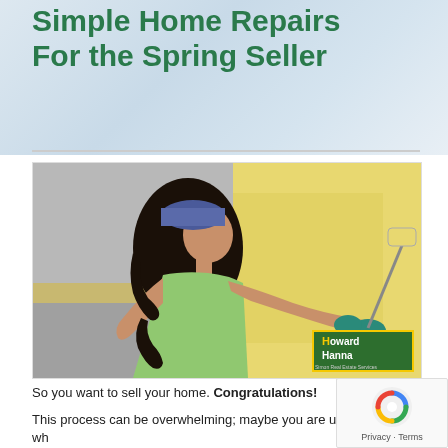Simple Home Repairs For the Spring Seller
[Figure (photo): Woman with dark curly hair and blue bandana wearing green tank top and teal gloves, painting a wall yellow with a paint roller. Howard Hanna real estate logo visible in bottom right of photo.]
So you want to sell your home. Congratulations!
This process can be overwhelming; maybe you are unsure wh… start. Or maybe you are worried that no one will love your hom… you do. Don't worry, these stresses are completely normal!